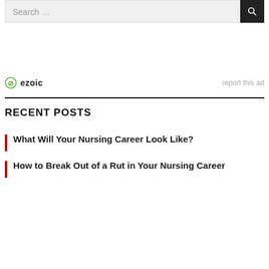Search …
[Figure (logo): Ezoic logo with circular icon and text 'ezoic', and 'report this ad' link on the right]
RECENT POSTS
What Will Your Nursing Career Look Like?
How to Break Out of a Rut in Your Nursing Career